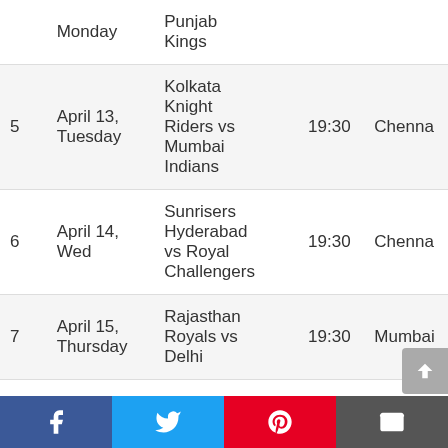| # | Date | Match | Time | Venue |
| --- | --- | --- | --- | --- |
|  | Monday | Punjab Kings |  |  |
| 5 | April 13, Tuesday | Kolkata Knight Riders vs Mumbai Indians | 19:30 | Chenna |
| 6 | April 14, Wed | Sunrisers Hyderabad vs Royal Challengers | 19:30 | Chenna |
| 7 | April 15, Thursday | Rajasthan Royals vs Delhi | 19:30 | Mumbai |